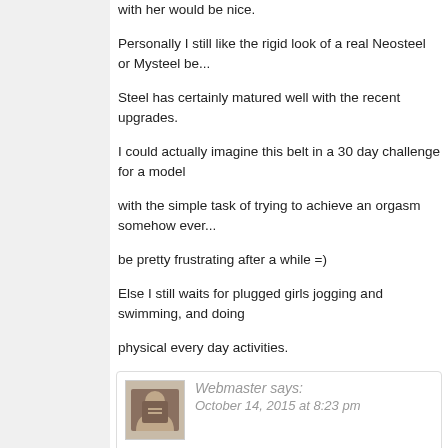with her would be nice.
Personally I still like the rigid look of a real Neosteel or Mysteel be... Steel has certainly matured well with the recent upgrades.
I could actually imagine this belt in a 30 day challenge for a model with the simple task of trying to achieve an orgasm somehow every... be pretty frustrating after a while =)
Else I still waits for plugged girls jogging and swimming, and doing physical every day activities.
Webmaster says:
October 14, 2015 at 8:23 pm
I will soon show you Natalia Forrest jogging plugged.
CA says:
October 16, 2015 at 11:58 am